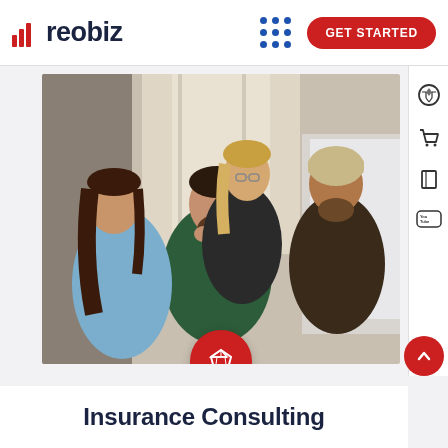reobiz | GET STARTED
[Figure (photo): Four young professionals (three standing, one seated) looking at a computer monitor in an office setting. Woman in blue shirt on left, blonde woman with glasses in back, man in beanie hat on right, man in green plaid shirt seated in center foreground.]
Insurance Consulting